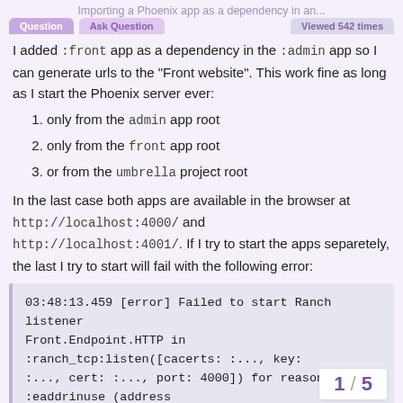Importing a Phoenix app as a dependency in an...
I added :front app as a dependency in the :admin app so I can generate urls to the "Front website". This work fine as long as I start the Phoenix server ever:
only from the admin app root
only from the front app root
or from the umbrella project root
In the last case both apps are available in the browser at http://localhost:4000/ and http://localhost:4001/. If I try to start the apps separetely, the last I try to start will fail with the following error:
03:48:13.459 [error] Failed to start Ranch listener Front.Endpoint.HTTP in :ranch_tcp:listen([cacerts: :..., key: :..., cert: :..., port: 4000]) for reason :eaddrinuse (address already in use)
So I vaguely understand that there is some
1 / 5